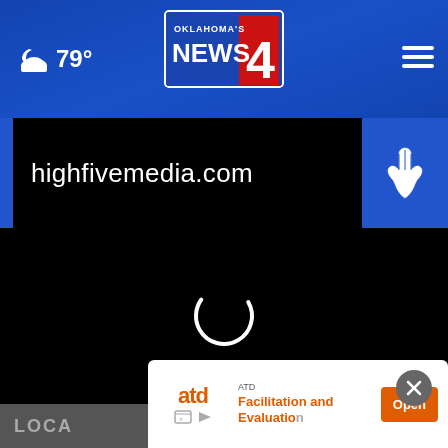[Figure (screenshot): Oklahoma's News 4 website navigation bar with weather widget showing 79° and partly cloudy icon, centered News 4 logo, and hamburger menu icon on right, blue gradient background]
[Figure (screenshot): Black advertisement banner showing 'highfivemedia.com' text in white on black background with blue accent bar on left and hand icon box on right]
[Figure (screenshot): Black video player area with circular loading spinner in center]
[Figure (screenshot): Bottom advertisement overlay for ATD showing 'Facilitation and Evaluation' with orange Open button, and partial 'LOCA' text visible]
highfivemedia.com
79°
ATD
Facilitation and Evaluation
Open
LOCA